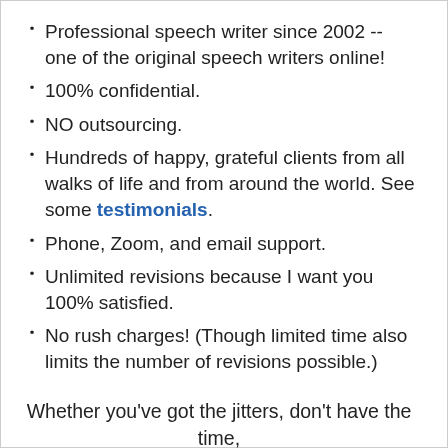Professional speech writer since 2002 -- one of the original speech writers online!
100% confidential.
NO outsourcing.
Hundreds of happy, grateful clients from all walks of life and from around the world. See some testimonials.
Phone, Zoom, and email support.
Unlimited revisions because I want you 100% satisfied.
No rush charges! (Though limited time also limits the number of revisions possible.)
Whether you've got the jitters, don't have the time, or just need fresh ideas, now you've got Your